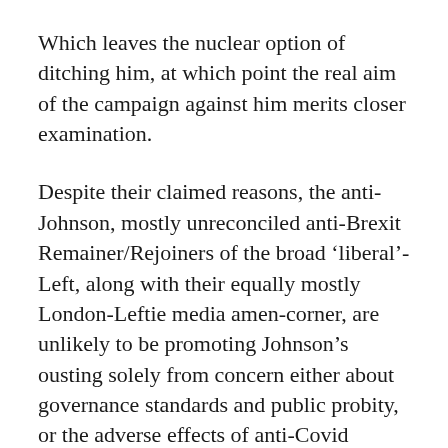Which leaves the nuclear option of ditching him, at which point the real aim of the campaign against him merits closer examination.
Despite their claimed reasons, the anti-Johnson, mostly unreconciled anti-Brexit Remainer/Rejoiners of the broad ‘liberal’-Left, along with their equally mostly London-Leftie media amen-corner, are unlikely to be promoting Johnson’s ousting solely from concern either about governance standards and public probity, or the adverse effects of anti-Covid measures, or his hypocrisy in personally disregarding them.
They didn’t much object to Blair’s style of sofa government; on Covid, they tend to back Starmer in demanding that Johnson’s lockdown